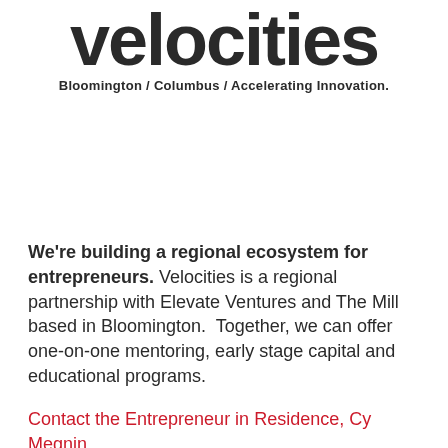velocities
Bloomington / Columbus / Accelerating Innovation.
We're building a regional ecosystem for entrepreneurs. Velocities is a regional partnership with Elevate Ventures and The Mill based in Bloomington. Together, we can offer one-on-one mentoring, early stage capital and educational programs.
Contact the Entrepreneur in Residence, Cy Megnin.